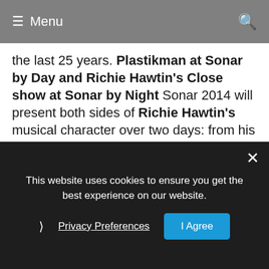≡ Menu  🔍
the last 25 years. Plastikman at Sonar by Day and Richie Hawtin's Close show at Sonar by Night Sonar 2014 will present both sides of Richie Hawtin's musical character over two days: from his own new recordings and live show Objekt as Plastikman at Sonar By Day, to his new standpoint on modern day performing as Richie Hawtin with Close in the main hall of Sonar By Night
Richie Hawtin, one of the most influential grey figure of electronica, will update his recording alias Plastikman. Richie Hawtin's Plastikman will make a return to Sonar with the exclusive Euro performance of his developing 'Objekt' live concept – debuted
This website uses cookies to ensure you get the best experience on our website.
Privacy Preferences
I Agree